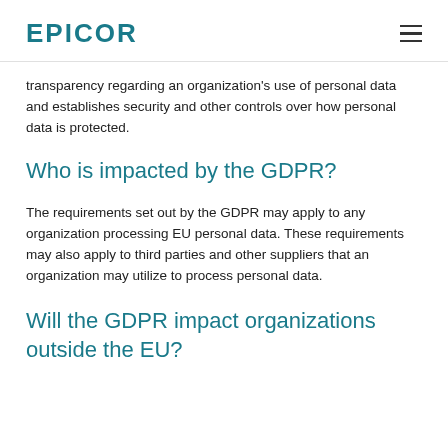EPICOR
transparency regarding an organization's use of personal data and establishes security and other controls over how personal data is protected.
Who is impacted by the GDPR?
The requirements set out by the GDPR may apply to any organization processing EU personal data. These requirements may also apply to third parties and other suppliers that an organization may utilize to process personal data.
Will the GDPR impact organizations outside the EU?